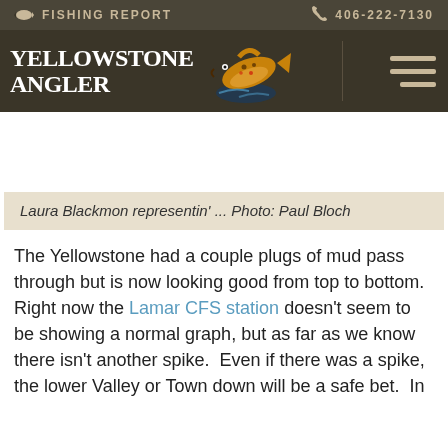🐟 FISHING REPORT   📞 406-222-7130
[Figure (logo): Yellowstone Angler logo with brown trout illustration and white serif text reading YELLOWSTONE ANGLER]
Laura Blackmon representin' ... Photo: Paul Bloch
The Yellowstone had a couple plugs of mud pass through but is now looking good from top to bottom. Right now the Lamar CFS station doesn't seem to be showing a normal graph, but as far as we know there isn't another spike.  Even if there was a spike, the lower Valley or Town down will be a safe bet.  In